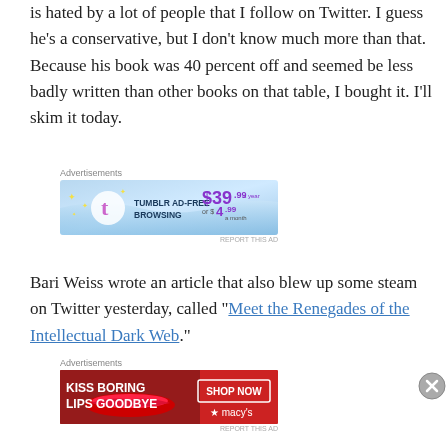is hated by a lot of people that I follow on Twitter. I guess he's a conservative, but I don't know much more than that. Because his book was 40 percent off and seemed be less badly written than other books on that table, I bought it. I'll skim it today.
[Figure (screenshot): Advertisement banner for Tumblr Ad-Free Browsing priced at $39.99 a year or $4.99 a month]
Bari Weiss wrote an article that also blew up some steam on Twitter yesterday, called "Meet the Renegades of the Intellectual Dark Web."
[Figure (screenshot): Advertisement banner for Macy's: KISS BORING LIPS GOODBYE with a SHOP NOW button and Macy's star logo]